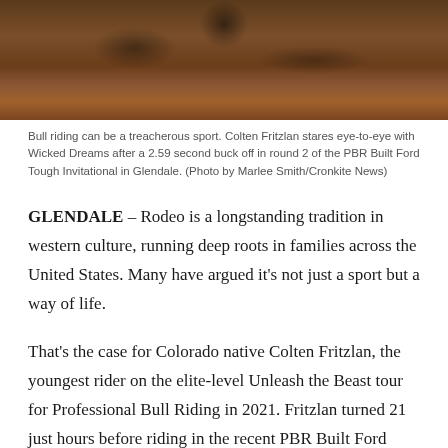[Figure (photo): Close-up photograph showing a bull and rider during a bull riding event, with dusty arena ground visible. Dark earthy tones dominate.]
Bull riding can be a treacherous sport. Colten Fritzlan stares eye-to-eye with Wicked Dreams after a 2.59 second buck off in round 2 of the PBR Built Ford Tough Invitational in Glendale. (Photo by Marlee Smith/Cronkite News)
GLENDALE – Rodeo is a longstanding tradition in western culture, running deep roots in families across the United States. Many have argued it’s not just a sport but a way of life.
That’s the case for Colorado native Colten Fritzlan, the youngest rider on the elite-level Unleash the Beast tour for Professional Bull Riding in 2021. Fritzlan turned 21 just hours before riding in the recent PBR Built Ford Tough